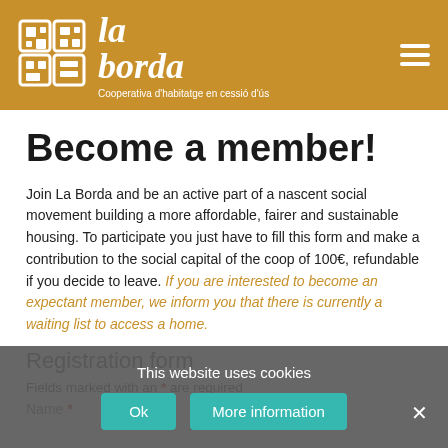la borda — Cooperativa d'habitatge en cessió d'ús
Become a member!
Join La Borda and be an active part of a nascent social movement building a more affordable, fairer and sustainable housing. To participate you just have to fill this form and make a contribution to the social capital of the coop of 100€, refundable if you decide to leave. If you are interested to become an expectant member, we inform you that there is currently a waiting list to access a home.
Registration form
Fields marked with an * are required
Name *
This website uses cookies